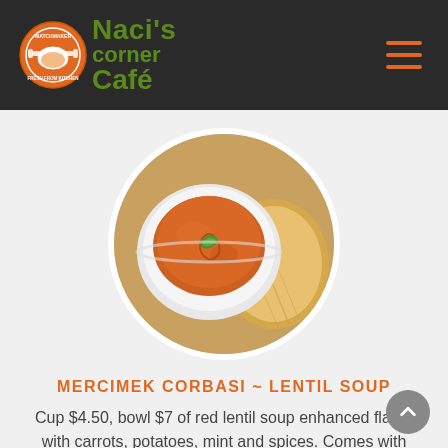[Figure (logo): Naci's Corner Café logo with orange circular emblem and green text]
[Figure (photo): Circular photo of a bowl of red lentil soup garnished with mint, served with pita bread]
MERCIMEK CORBASI ~ LENTIL SOUP
Cup $4.50, bowl $7 of red lentil soup enhanced flavor with carrots, potatoes, mint and spices. Comes with one pita bread.